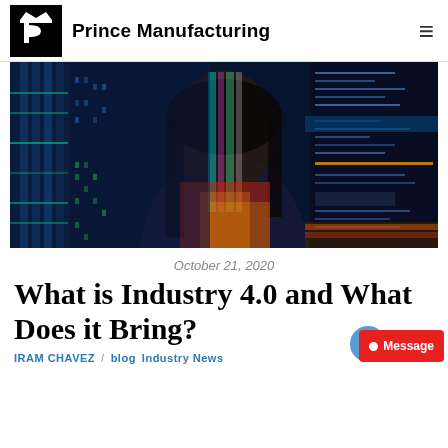Prince Manufacturing
[Figure (photo): A woman's face overlaid with digital code, binary data, and colorful light patterns representing Industry 4.0 and digital transformation themes]
October 21, 2020
What is Industry 4.0 and What Does it Bring?
IRAM CHAVEZ / blog  Industry News